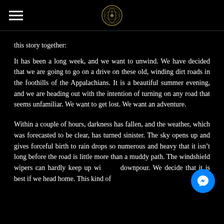[hamburger menu] [logo icon]
this story together:
It has been a long week, and we want to unwind. We have decided that we are going to go on a drive on these old, winding dirt roads in the foothills of the Appalachians. It is a beautiful summer evening, and we are heading out with the intention of turning on any road that seems unfamiliar. We want to get lost. We want an adventure.
Within a couple of hours, darkness has fallen, and the weather, which was forecasted to be clear, has turned sinister. The sky opens up and gives forceful birth to rain drops so numerous and heavy that it isn't long before the road is little more than a muddy path. The windshield wipers can hardly keep up with the downpour. We decide that it is best if we head home. This kind of